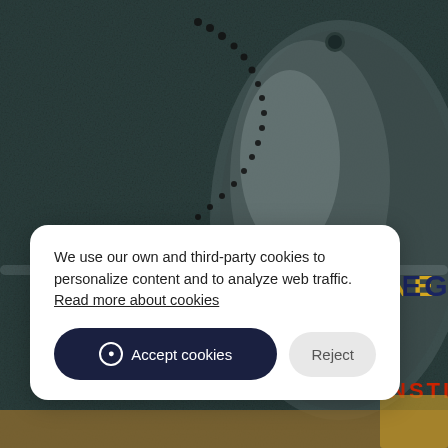[Figure (photo): Background photo of military dog tags on a dark textured surface. Text overlay reads 'CAMP LEJEUNE LEGAL' in yellow and dark blue letters. Partially visible red text 'NSTIC' in lower right. A small secondary image is partially visible at bottom right corner.]
We use our own and third-party cookies to personalize content and to analyze web traffic. Read more about cookies
Accept cookies
Reject